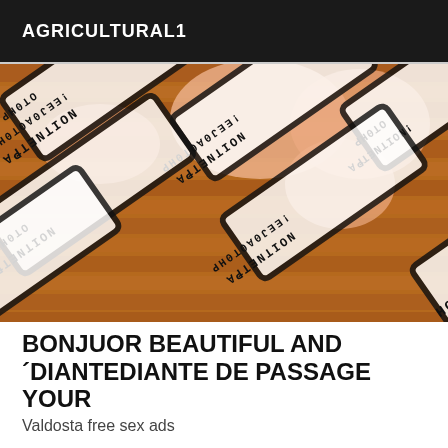AGRICULTURAL1
[Figure (photo): A photo showing repeated stamp/warning tape bands overlaid on a background, with text reading 'PHOTO ATTENTION!' printed in mirrored/rotated orientations across the image.]
BONJUOR BEAUTIFUL AND ´DIANTEDIANTE DE PASSAGE YOUR
Valdosta free sex ads
Hello ... I'm beautiful smiling CAMILA, my priority is to make you spend a moment that you never forget!.am a